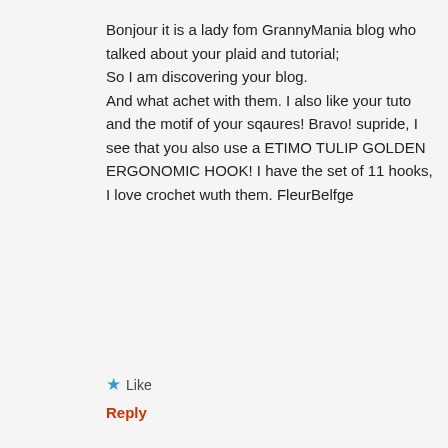Bonjour it is a lady fom GrannyMania blog who talked about your plaid and tutorial;
So I am discovering your blog.
And what achet with them. I also like your tuto and the motif of your sqaures! Bravo! supride, I see that you also use a ETIMO TULIP GOLDEN ERGONOMIC HOOK! I have the set of 11 hooks, I love crochet wuth them. FleurBelfge
★ Like
Reply
Sue
[Figure (illustration): Decorative avatar with geometric diamond pattern in orange, beige and teal]
Advertisements
[Figure (photo): Advertisement banner showing beauty/makeup images including lips, brushes, eyes and ULTA beauty logo with SHOP NOW text]